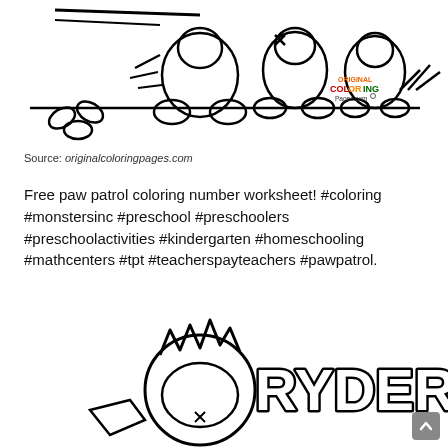[Figure (illustration): Coloring page illustration showing cartoon paw patrol characters (dogs) in a line-art style suitable for coloring, with an 'Original Coloring Pages.com' watermark logo visible in the lower right area of the image.]
Source: originalcoloringpages.com
Free paw patrol coloring number worksheet! #coloring #monstersinc #preschool #preschoolers #preschoolactivities #kindergarten #homeschooling #mathcenters #tpt #teacherspayteachers #pawpatrol.
[Figure (illustration): Coloring page illustration showing the character Ryder from Paw Patrol in line-art style. The word 'RYDER' appears in large bold outlined letters. A scroll-to-top button is visible in the bottom right corner.]